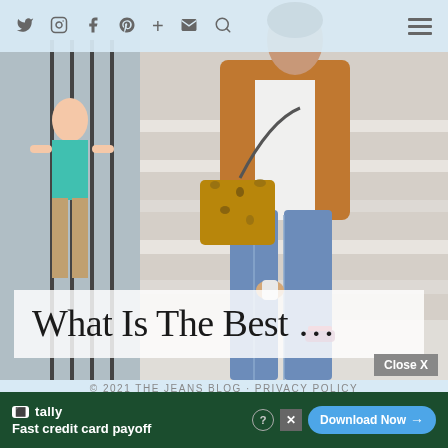Social nav icons: Twitter, Instagram, Facebook, Pinterest, Plus, Email, Search | Hamburger menu
[Figure (photo): Woman wearing blue jeans, white top, brown suede jacket, carrying a leopard-print bag, walking down white marble steps outdoors]
What Is The Best …
© 2021 THE JEANS BLOG · PRIVACY POLICY
[Figure (screenshot): Tally app advertisement banner: 'Fast credit card payoff' with Download Now button, on dark green background]